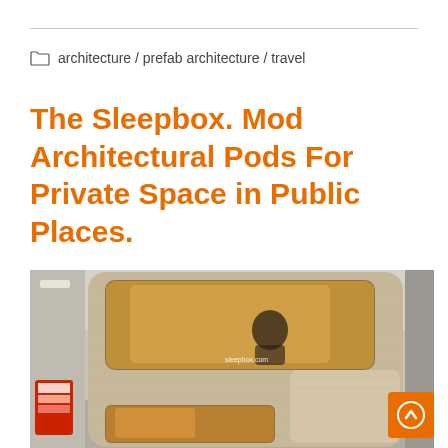architecture / prefab architecture / travel
The Sleepbox. Mod Architectural Pods For Private Space in Public Places.
[Figure (photo): A Sleepbox architectural sleeping pod with rounded-corner wooden facade, a small window showing a person inside, and a door panel on the right. The sleepbox.com URL is visible. The photo is taken in what appears to be a public space like an airport.]